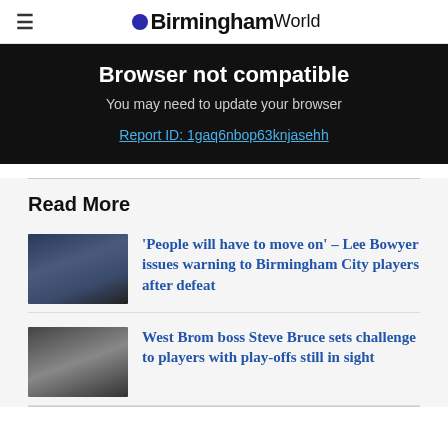BirminghamWorld
Browser not compatible
You may need to update your browser
Report ID: 1gaq6nbop63knjasehh
Read More
'People will have to move on' – Lee Bowyer issues warning to Birmingham City players after defeat
West Brom boss Steve Bruce sets challenge to players with play-offs still in sight